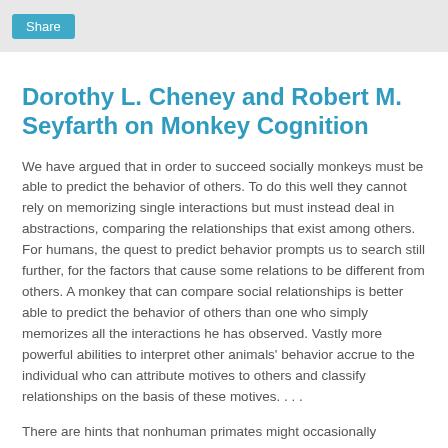Share
Dorothy L. Cheney and Robert M. Seyfarth on Monkey Cognition
We have argued that in order to succeed socially monkeys must be able to predict the behavior of others. To do this well they cannot rely on memorizing single interactions but must instead deal in abstractions, comparing the relationships that exist among others. For humans, the quest to predict behavior prompts us to search still further, for the factors that cause some relations to be different from others. A monkey that can compare social relationships is better able to predict the behavior of others than one who simply memorizes all the interactions he has observed. Vastly more powerful abilities to interpret other animals' behavior accrue to the individual who can attribute motives to others and classify relationships on the basis of these motives. . . .
There are hints that nonhuman primates might occasionally